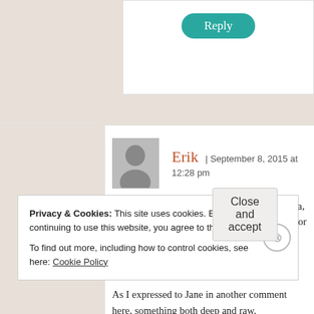Reply
Erik | September 8, 2015 at 12:28 pm
Thought of you throughout reading this, Diana, a who takes a primary role in providing care for m grandmother. At this time, she doesn't ever get th stomach to start rumbling again; but I know she g
As I expressed to Jane in another comment here, something both deep and raw.
Privacy & Cookies: This site uses cookies. By continuing to use this website, you agree to their use.
To find out more, including how to control cookies, see here: Cookie Policy
Close and accept